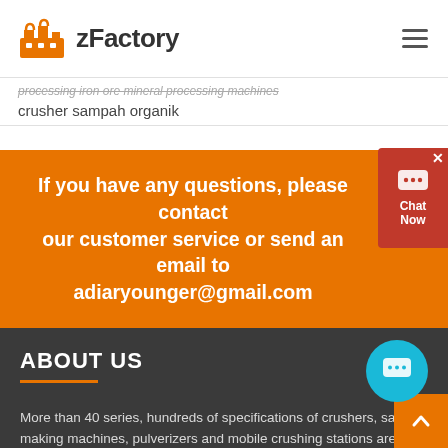zFactory
processing iron ore mineral processing machines
crusher sampah organik
If you have any questions, please contact our customer service or send an email to adiaryounger@gmail.com
ABOUT US
More than 40 series, hundreds of specifications of crushers, sand making machines, pulverizers and mobile crushing stations are the company's main products, complete in models and superior in quality. They are widely used in mining, building materials, highways, bridges, coal and chemicals. Metallurgy, refractory materials and